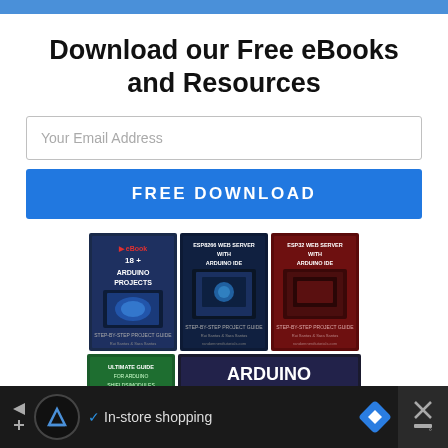Download our Free eBooks and Resources
Your Email Address
FREE DOWNLOAD
[Figure (illustration): Three ebook covers: '18+ Arduino Projects', 'ESP8266 Web Server with Arduino IDE', 'ESP32 Web Server with Arduino IDE', plus two more covers below: 'Ultimate Guide for Arduino Shields/Modules' and 'Arduino Mini Course']
In-store shopping